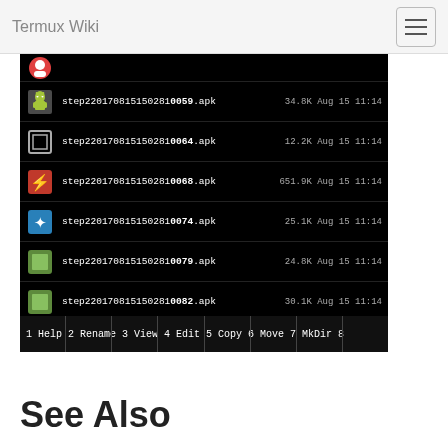Termux Wiki
[Figure (screenshot): Android file manager screenshot showing a list of APK files with names starting with 'step220170815150281', sizes (34.8K, 12.2K, 651.9K, 25.1K, 24.8K, 30.1K, 28.9K, 624.5K), dates (Aug 15 11:14), and a toolbar at the bottom showing: 1 Help 2 Rename 3 View 4 Edit 5 Copy 6 Move 7 MkDir 8]
See Also